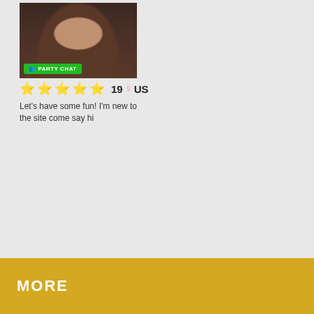[Figure (photo): Profile photo of a young woman with dark hair, with a green 'PARTY CHAT' badge overlay at the bottom of the image]
⭐⭐⭐⭐⭐  19 ♀ US
Let's have some fun! I'm new to the site come say hi
MORE